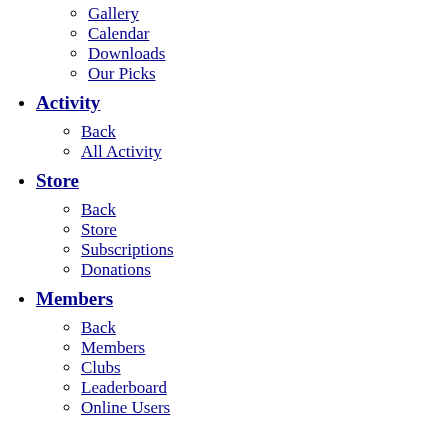Gallery
Calendar
Downloads
Our Picks
Activity
Back
All Activity
Store
Back
Store
Subscriptions
Donations
Members
Back
Members
Clubs
Leaderboard
Online Users